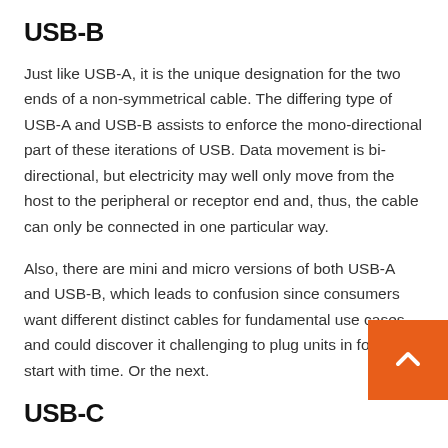USB-B
Just like USB-A, it is the unique designation for the two ends of a non-symmetrical cable. The differing type of USB-A and USB-B assists to enforce the mono-directional part of these iterations of USB. Data movement is bi-directional, but electricity may well only move from the host to the peripheral or receptor end and, thus, the cable can only be connected in one particular way.
Also, there are mini and micro versions of both USB-A and USB-B, which leads to confusion since consumers want different distinct cables for fundamental use cases and could discover it challenging to plug units in for the to start with time. Or the next.
USB-C